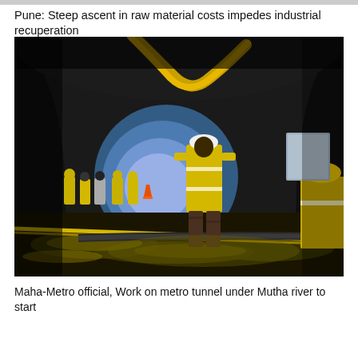Pune: Steep ascent in raw material costs impedes industrial recuperation
[Figure (photo): Workers in yellow safety vests and hard hats working inside a dark tunnel under construction. The tunnel interior is illuminated with artificial light revealing dark rocky walls. Workers are standing in the tunnel with construction equipment visible. A bright blue arch is visible at the far end of the tunnel. Yellow caution tape runs across the frame in the foreground.]
Maha-Metro official, Work on metro tunnel under Mutha river to start